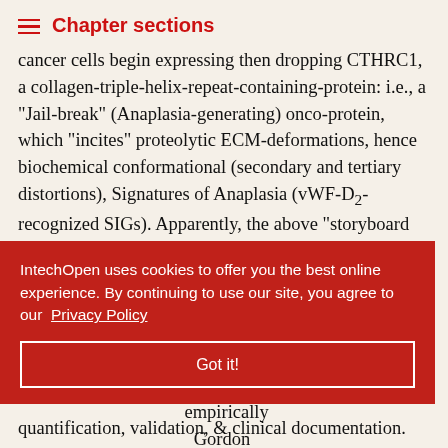Chapter sections
cancer cells begin expressing then dropping CTHRC1, a collagen-triple-helix-repeat-containing-protein: i.e., a “Jail-break” (Anaplasia-generating) onco-protein, which “incites” proteolytic ECM-deformations, hence biochemical conformational (secondary and tertiary distortions), Signatures of Anaplasia (vWF-D2-recognized SIGs). Apparently, the above “storyboard figure,” together with Dr. Hall’s letter, served to convince (technically, “teach”) the conscientious U.S. patent examiners: New IP Badges were formally “issued” in mid-2019. Grasped thematically, or in intricate, gristly […] “…” oncoprotein […] related to the […] empirically […] Gordon […] rimentation, quantification, validation, & clinical documentation.
IntechOpen uses cookies to offer you the best online experience. By continuing to use our site, you agree to our Privacy Policy
Got it!